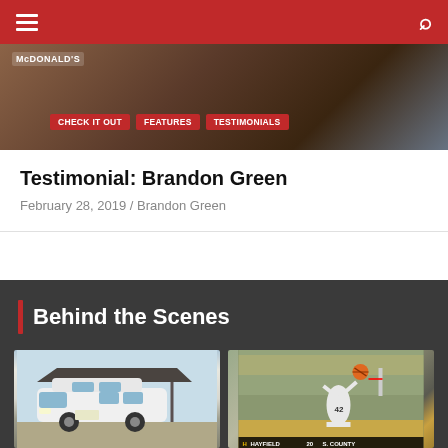Navigation bar with hamburger menu and search icon
[Figure (photo): Top banner image showing a person seated near a McDonald's branded backdrop]
CHECK IT OUT  FEATURES  TESTIMONIALS
Testimonial: Brandon Green
February 28, 2019 / Brandon Green
Behind the Scenes
[Figure (photo): White van parked under a canopy in a parking lot]
[Figure (photo): Basketball player #42 dunking during a game. Scoreboard shows HAYFIELD 20 S. COUNTY]